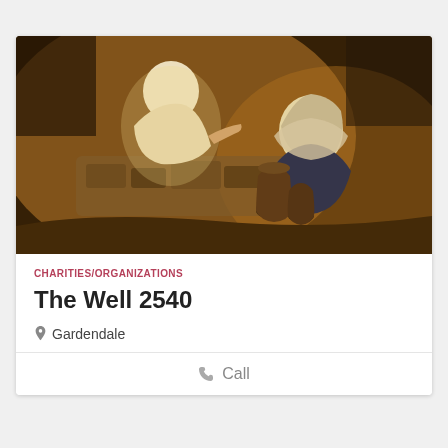[Figure (illustration): Religious painting depicting two figures at a well — one in white robes gesturing, and a woman in a head covering kneeling beside clay water jugs, with warm golden and earthy tones]
CHARITIES/ORGANIZATIONS
The Well 2540
Gardendale
Call